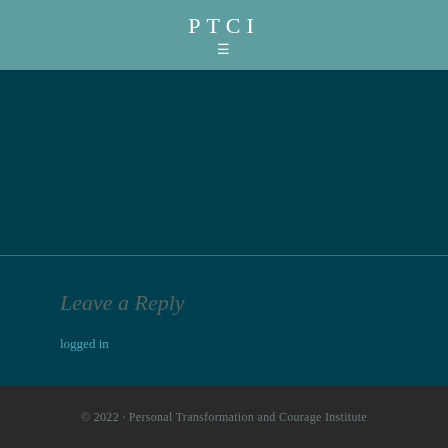PTCI
Leave a Reply
logged in
© 2022 · Personal Transformation and Courage Institute